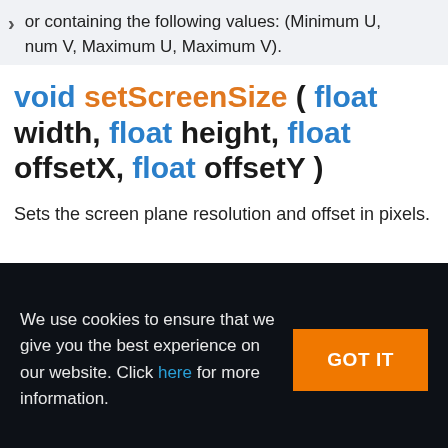or containing the following values: (Minimum U, num V, Maximum U, Maximum V).
void setScreenSize ( float width, float height, float offsetX, float offsetY )
Sets the screen plane resolution and offset in pixels.
We use cookies to ensure that we give you the best experience on our website. Click here for more information.